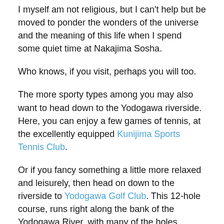I myself am not religious, but I can't help but be moved to ponder the wonders of the universe and the meaning of this life when I spend some quiet time at Nakajima Sosha.
Who knows, if you visit, perhaps you will too.
The more sporty types among you may also want to head down to the Yodogawa riverside. Here, you can enjoy a few games of tennis, at the excellently equipped Kunijima Sports Tennis Club.
Or if you fancy something a little more relaxed and leisurely, then head on down to the riverside to Yodogawa Golf Club. This 12-hole course, runs right along the bank of the Yodogawa River, with many of the holes allowing views across the water to Kema Sakuranomiya Park, which is especially beautiful in spring time.